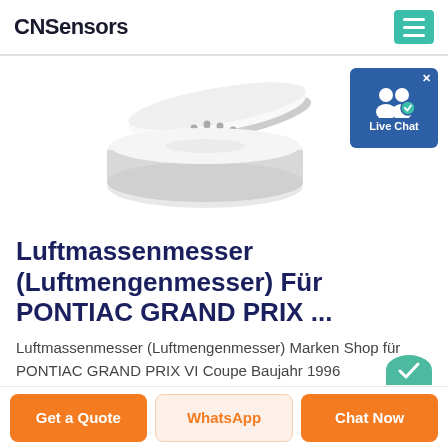CNSensors
[Figure (photo): A white circular air mass sensor device with metal pins on top, shown with its lid open, on a white background.]
[Figure (screenshot): Live Chat widget button with two person icons and a blue checkmark badge, with an X close button in top right corner.]
Luftmassenmesser (Luftmengenmesser) Für PONTIAC GRAND PRIX ...
Luftmassenmesser (Luftmengenmesser) Marken Shop für PONTIAC GRAND PRIX VI Coupe Baujahr 1996